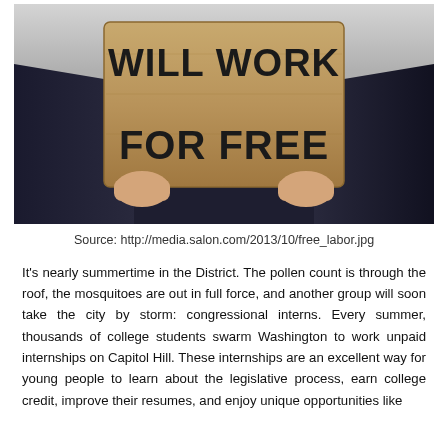[Figure (photo): Person in a dark pinstripe suit holding a cardboard sign that reads 'WILL WORK FOR FREE' in large hand-written letters.]
Source: http://media.salon.com/2013/10/free_labor.jpg
It's nearly summertime in the District. The pollen count is through the roof, the mosquitoes are out in full force, and another group will soon take the city by storm: congressional interns. Every summer, thousands of college students swarm Washington to work unpaid internships on Capitol Hill. These internships are an excellent way for young people to learn about the legislative process, earn college credit, improve their resumes, and enjoy unique opportunities like heading to one of the Capitol building's...